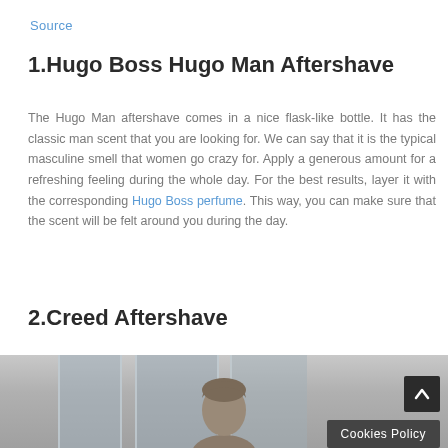Source
1.Hugo Boss Hugo Man Aftershave
The Hugo Man aftershave comes in a nice flask-like bottle. It has the classic man scent that you are looking for. We can say that it is the typical masculine smell that women go crazy for. Apply a generous amount for a refreshing feeling during the whole day. For the best results, layer it with the corresponding Hugo Boss perfume. This way, you can make sure that the scent will be felt around you during the day.
2.Creed Aftershave
[Figure (photo): Photo of a man in a blurred modern interior with large windows. A 'Cookies Policy' bar and a back-to-top arrow button are overlaid on the image.]